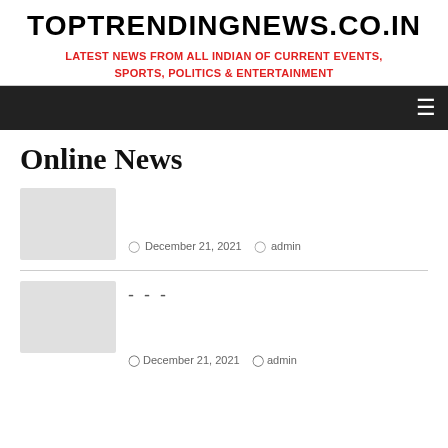TOPTRENDINGNEWS.CO.IN
LATEST NEWS FROM ALL INDIAN OF CURRENT EVENTS, SPORTS, POLITICS & ENTERTAINMENT
≡
Online News
[Figure (photo): Thumbnail image placeholder (light gray box)]
December 21, 2021  admin
[Figure (photo): Thumbnail image placeholder (light gray box)]
- - -  December 21, 2021  admin